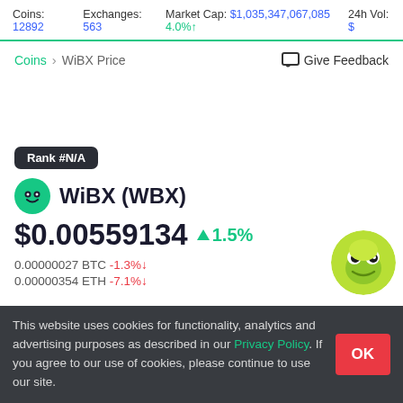Coins: 12892   Exchanges: 563   Market Cap: $1,035,347,067,085 4.0%↑   24h Vol: $
Coins > WiBX Price   Give Feedback
Rank #N/A
WiBX (WBX)
$0.00559134 ▲1.5%
0.00000027 BTC -1.3%↓
0.00000354 ETH -7.1%↓
This website uses cookies for functionality, analytics and advertising purposes as described in our Privacy Policy. If you agree to our use of cookies, please continue to use our site.